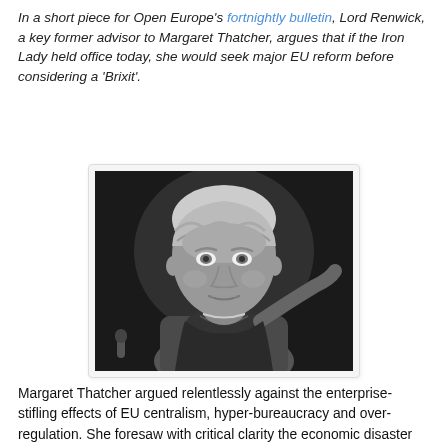In a short piece for Open Europe's fortnightly bulletin, Lord Renwick, a key former advisor to Margaret Thatcher, argues that if the Iron Lady held office today, she would seek major EU reform before considering a 'Brixit'.
[Figure (photo): Black and white photograph of Margaret Thatcher speaking at a podium, with a microphone visible in the lower left and her gesturing with her right hand.]
Margaret Thatcher argued relentlessly against the enterprise-stifling effects of EU centralism, hyper-bureaucracy and over-regulation.  She foresaw with critical clarity the economic disaster that would overtake the weaker members of the eurozone, unable to remain competitive by devaluing their currencies.  She would not accept that the British economy could not thrive outside the EU; that would